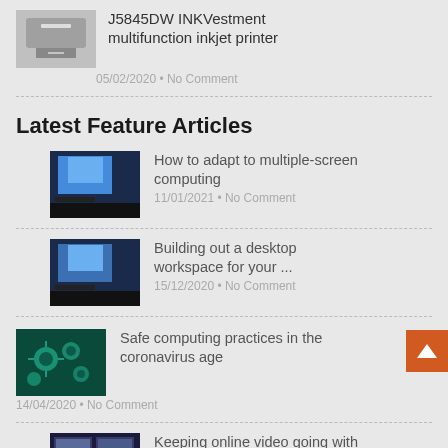[Figure (photo): Thumbnail of a printer]
J5845DW INKVestment multifunction inkjet printer
05/02/2020 • No Comment
Latest Feature Articles
[Figure (photo): Thumbnail of a laptop with multiple screens]
How to adapt to multiple-screen computing
11/01/2021 • No Comment
[Figure (photo): Thumbnail of a laptop workspace]
Building out a desktop workspace for your ...
15/12/2020 • No Comment
[Figure (photo): Thumbnail showing coronavirus particles in teal]
Safe computing practices in the coronavirus age
14/04/2020 • No Comment
[Figure (photo): Thumbnail of TV/video screens]
Keeping online video going with an older